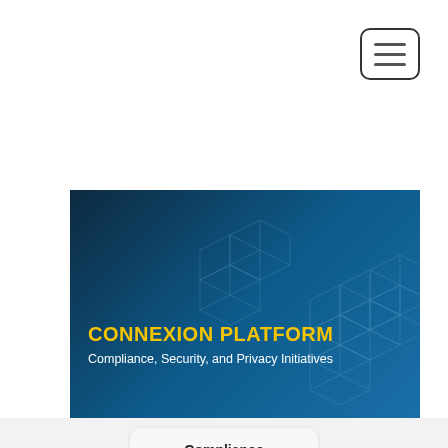[Figure (screenshot): Hamburger menu button (three horizontal lines) in top-right corner with rounded rectangle border]
[Figure (illustration): Hero banner with dark blue geometric hex-grid background showing 'CONNEXION PLATFORM' in bold yellow text and subtitle 'Compliance, Security, and Privacy Initiatives' in white, with a gold bottom border]
CONNEXION PLATFORM
Compliance, Security, and Privacy Initiatives
Compliance
GDPR